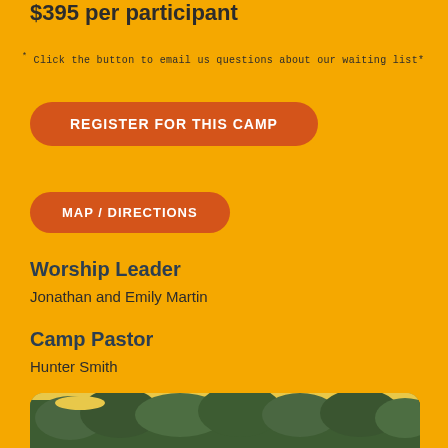$395 per participant
* Click the button to email us questions about our waiting list*
REGISTER FOR THIS CAMP
MAP / DIRECTIONS
Worship Leader
Jonathan and Emily Martin
Camp Pastor
Hunter Smith
[Figure (photo): Aerial or elevated view of trees/forest with colorful objects visible at bottom, outdoor camp setting]